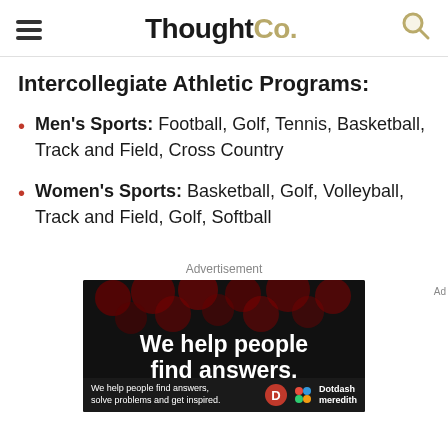ThoughtCo.
Intercollegiate Athletic Programs:
Men's Sports: Football, Golf, Tennis, Basketball, Track and Field, Cross Country
Women's Sports: Basketball, Golf, Volleyball, Track and Field, Golf, Softball
Advertisement
[Figure (other): Advertisement banner reading 'We help people find answers, solve problems' with Dotdash Meredith branding on dark background with red bokeh dots]